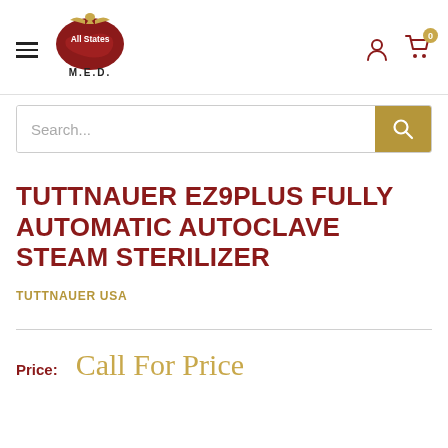[Figure (logo): All States M.E.D. logo with red map of USA and golden caduceus eagle, text 'All States' in white on red, 'M.E.D.' below]
Search...
TUTTNAUER EZ9PLUS FULLY AUTOMATIC AUTOCLAVE STEAM STERILIZER
TUTTNAUER USA
Price: Call For Price